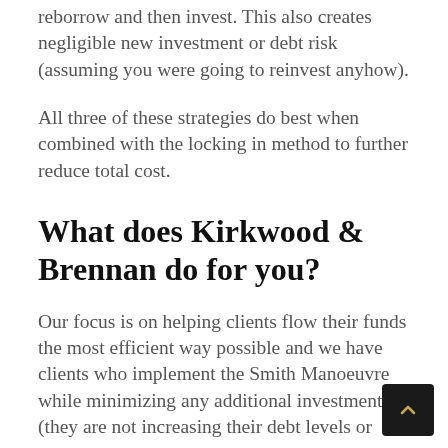reborrow and then invest. This also creates negligible new investment or debt risk (assuming you were going to reinvest anyhow).
All three of these strategies do best when combined with the locking in method to further reduce total cost.
What does Kirkwood & Brennan do for you?
Our focus is on helping clients flow their funds the most efficient way possible and we have clients who implement the Smith Manoeuvre while minimizing any additional investment (they are not increasing their debt levels or